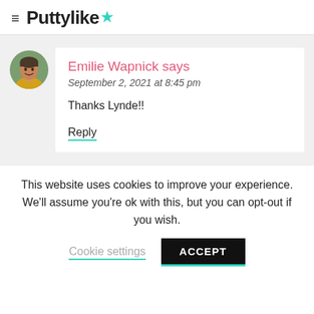≡ Puttylike★
Emilie Wapnick says
September 2, 2021 at 8:45 pm

Thanks Lynde!!

Reply
This website uses cookies to improve your experience. We'll assume you're ok with this, but you can opt-out if you wish.
Cookie settings  ACCEPT